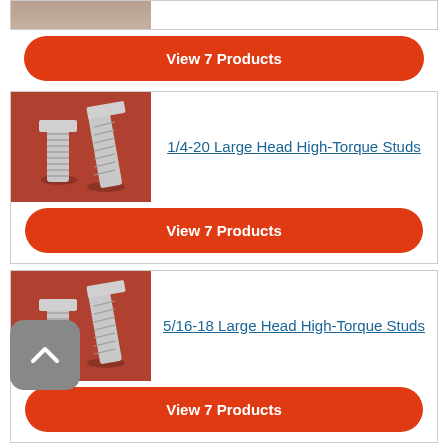[Figure (photo): Partial top card showing product image (cropped at top of page)]
View 7 Products
[Figure (photo): Photo of 1/4-20 Large Head High-Torque Studs — two silver threaded studs on red background]
1/4-20 Large Head High-Torque Studs
View 7 Products
[Figure (photo): Photo of 5/16-18 Large Head High-Torque Studs — two silver threaded studs on red background]
5/16-18 Large Head High-Torque Studs
View 7 Products
[Figure (photo): Partial bottom card showing product image (cropped at bottom of page)]